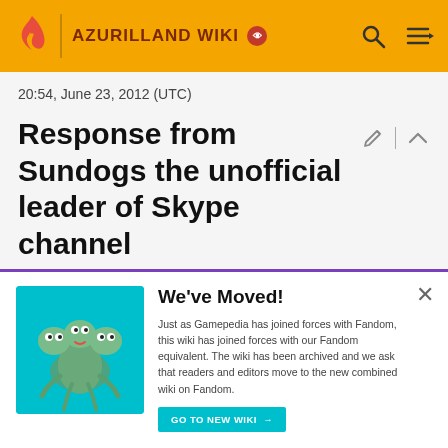AZURILLAND WIKI
20:54, June 23, 2012 (UTC)
Response from Sundogs the unofficial leader of Skype channel
The number one reason the group crashed and burbed like it did was my fault due to tech related problem with audio platform, computer needed to be updated via Microsoft Windows Update, and the internet modem was on its last leg (since the last time we actually had a meeting and
[Figure (illustration): We've Moved popup notification with a cartoon illustration of a multi-headed creature on a teal background. Text reads: Just as Gamepedia has joined forces with Fandom, this wiki has joined forces with our Fandom equivalent. The wiki has been archived and we ask that readers and editors move to the new combined wiki on Fandom. Button: GO TO NEW WIKI →]
We've Moved! Just as Gamepedia has joined forces with Fandom, this wiki has joined forces with our Fandom equivalent. The wiki has been archived and we ask that readers and editors move to the new combined wiki on Fandom. GO TO NEW WIKI →